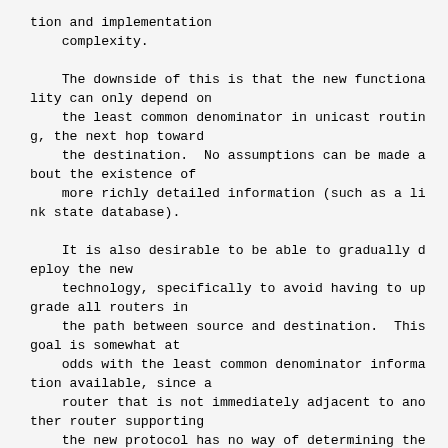tion and implementation
    complexity.

    The downside of this is that the new functiona
lity can only depend on
    the least common denominator in unicast routin
g, the next hop toward
    the destination.  No assumptions can be made a
bout the existence of
    more richly detailed information (such as a li
nk state database).

    It is also desirable to be able to gradually d
eploy the new
    technology, specifically to avoid having to up
grade all routers in
    the path between source and destination.  This
goal is somewhat at
    odds with the least common denominator informa
tion available, since a
    router that is not immediately adjacent to ano
ther router supporting
    the new protocol has no way of determining the